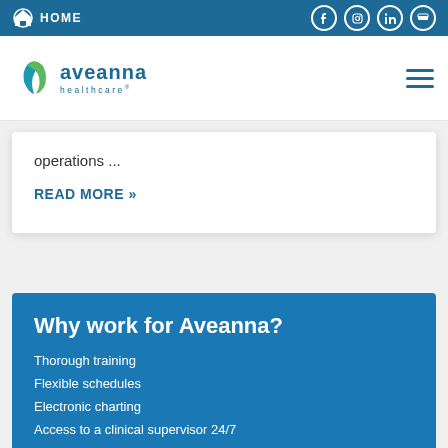HOME
[Figure (logo): Aveanna Healthcare logo with teal/green leaf icon]
operations ...
READ MORE »
Why work for Aveanna?
Thorough training
Flexible schedules
Electronic charting
Access to a clinical supervisor 24/7
Tuition Reimbursement
Advancement opportunities